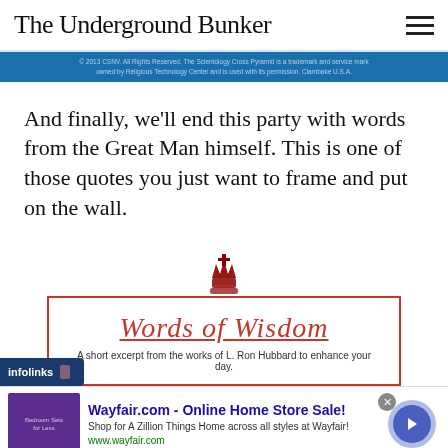The Underground Bunker
[Figure (screenshot): Blue copyright bar: © 2013 CSNV. All Rights Reserved. The Scientology Cross Pyramid is a trademark and service mark owned by Religious Technology Center and is used with its permission. Clambake U.S.A.]
And finally, we'll end this party with words from the Great Man himself. This is one of those quotes you just want to frame and put on the wall.
[Figure (illustration): Scientology 'Words of Wisdom' promotional image with crest/emblem, red script text 'Words of Wisdom' underlined, and subtitle 'A short excerpt from the works of L. Ron Hubbard to enhance your day.' Infolinks overlay bar visible at bottom left.]
[Figure (screenshot): Wayfair.com advertisement: 'Wayfair.com - Online Home Store Sale! Shop for A Zillion Things Home across all styles at Wayfair! www.wayfair.com' with purple bedroom thumbnail and blue arrow button.]